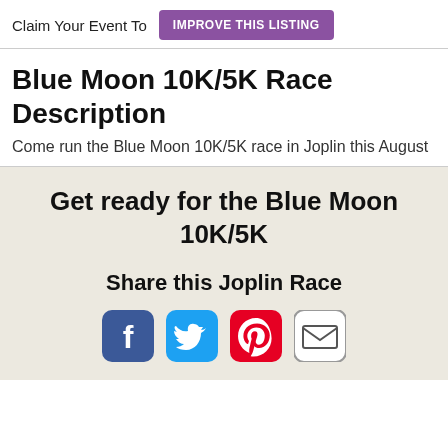Claim Your Event To  IMPROVE THIS LISTING
Blue Moon 10K/5K Race Description
Come run the Blue Moon 10K/5K race in Joplin this August
Get ready for the Blue Moon 10K/5K
Share this Joplin Race
[Figure (infographic): Social media sharing icons: Facebook (blue), Twitter (blue bird), Pinterest (red P), Email (envelope)]